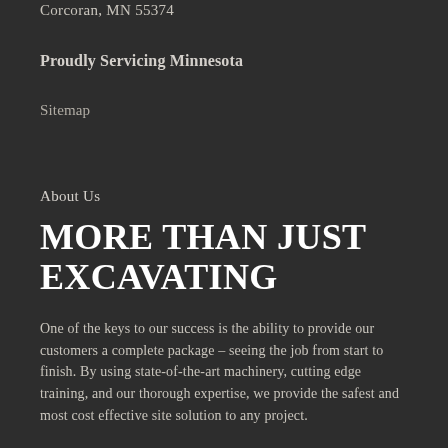Corcoran, MN 55374
Proudly Servicing Minnesota
Sitemap
About Us
MORE THAN JUST EXCAVATING
One of the keys to our success is the ability to provide our customers a complete package – seeing the job from start to finish. By using state-of-the-art machinery, cutting edge training, and our thorough expertise, we provide the safest and most cost effective site solution to any project.
Demolition, also known as razing, cartage, and wrecking is the science and engineering in safely and efficiently tearing down buildings and other specific structures.